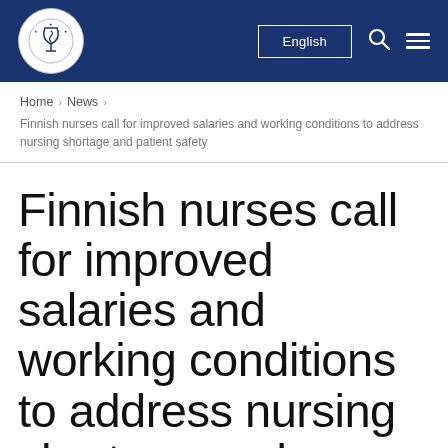Finnish Nurses Association – English navigation header
Home > News > Finnish nurses call for improved salaries and working conditions to address nursing shortage and patient safety
Finnish nurses call for improved salaries and working conditions to address nursing shortage and patient safety